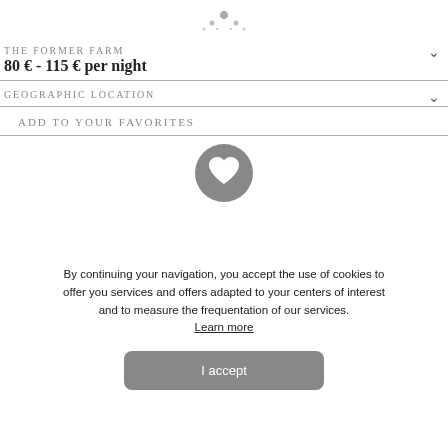[Figure (illustration): Decorative small icon/logo at top center, ornamental dots and droplet shape in gray]
THE FORMER FARM
80 € - 115 € per night
GEOGRAPHIC LOCATION
ADD TO YOUR FAVORITES
[Figure (illustration): Gray circle with white heart icon (favorites/like button)]
By continuing your navigation, you accept the use of cookies to offer you services and offers adapted to your centers of interest and to measure the frequentation of our services. Learn more
I accept